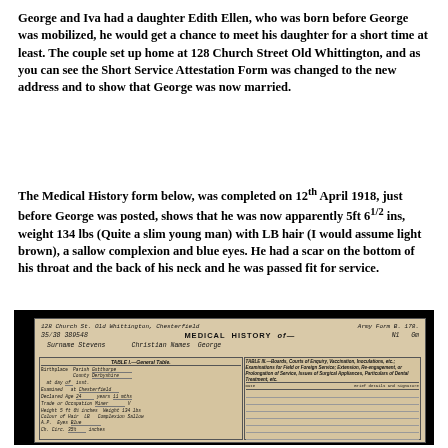George and Iva had a daughter Edith Ellen, who was born before George was mobilized, he would get a chance to meet his daughter for a short time at least. The couple set up home at 128 Church Street Old Whittington, and as you can see the Short Service Attestation Form was changed to the new address and to show that George was now married.
The Medical History form below, was completed on 12th April 1918, just before George was posted, shows that he was now apparently 5ft 6 1/2 ins, weight 134 lbs (Quite a slim young man) with LB hair (I would assume light brown), a sallow complexion and blue eyes. He had a scar on the bottom of his throat and the back of his neck and he was passed fit for service.
[Figure (photo): Scanned image of an Army Medical History form (Army Form B. 178) filled in for George Stevens. The form shows surname Stevens, Christian Name George, Parish Gutthorpe, County Derbyshire, examined at Chesterfield, Declared Age 24 years 11 months, Trade or Occupation Miner, Height 5ft 6 1/2 inches, Weight 134 lbs, Colour of Hair LB, Complexion Sallow, A.P. Eyes Blue, Chest measurement 35.5 inches.]